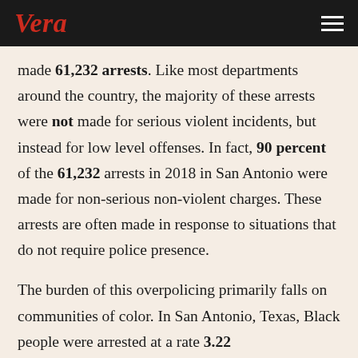Vera
made 61,232 arrests. Like most departments around the country, the majority of these arrests were not made for serious violent incidents, but instead for low level offenses. In fact, 90 percent of the 61,232 arrests in 2018 in San Antonio were made for non-serious non-violent charges. These arrests are often made in response to situations that do not require police presence.
The burden of this overpolicing primarily falls on communities of color. In San Antonio, Texas, Black people were arrested at a rate 3.22